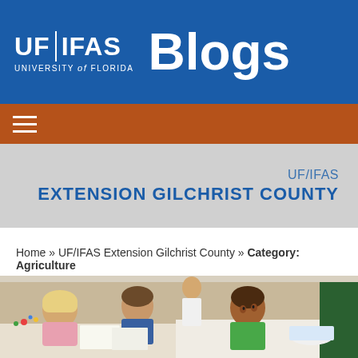[Figure (logo): UF/IFAS Blogs header banner with blue background showing UF|IFAS University of Florida logo on left and large 'Blogs' text on right]
[Figure (other): Orange navigation bar with white hamburger menu icon (three horizontal lines)]
UF/IFAS
EXTENSION GILCHRIST COUNTY
Home » UF/IFAS Extension Gilchrist County » Category: Agriculture
[Figure (photo): Photo of children seated at tables, including a blonde child and a child in a green shirt, engaged in an activity, with an adult's hand visible]